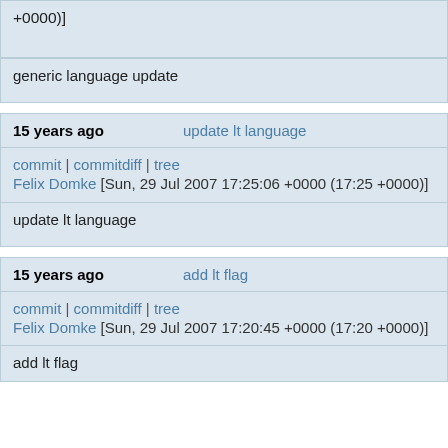+0000)]
generic language update
15 years ago   update lt language
commit | commitdiff | tree
Felix Domke [Sun, 29 Jul 2007 17:25:06 +0000 (17:25 +0000)]
update lt language
15 years ago   add lt flag
commit | commitdiff | tree
Felix Domke [Sun, 29 Jul 2007 17:20:45 +0000 (17:20 +0000)]
add lt flag